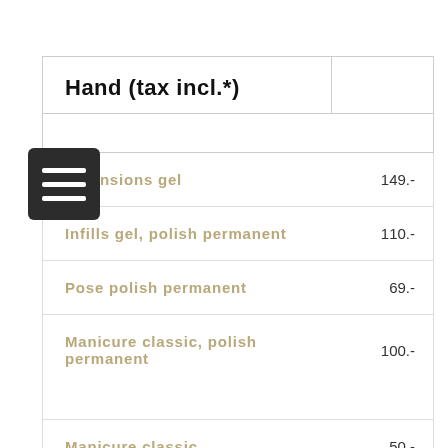| Hand (tax incl.*) |  |
| --- | --- |
| Extensions gel | 149.- |
| Infills gel, polish permanent | 110.- |
| Pose polish permanent | 69.- |
| Manicure classic, polish permanent | 100.- |
| Manicure classic | 50.- |
| Manicure couture | 60.- |